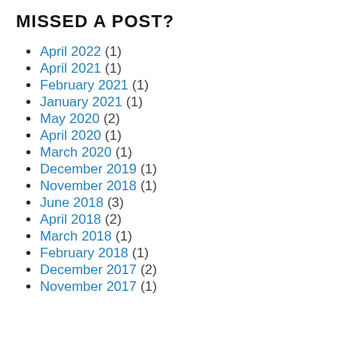MISSED A POST?
April 2022 (1)
April 2021 (1)
February 2021 (1)
January 2021 (1)
May 2020 (2)
April 2020 (1)
March 2020 (1)
December 2019 (1)
November 2018 (1)
June 2018 (3)
April 2018 (2)
March 2018 (1)
February 2018 (1)
December 2017 (2)
November 2017 (1)